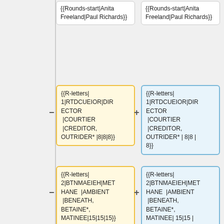{{Rounds-start|Anita Freeland|Paul Richards}}
{{Rounds-start|Anita Freeland|Paul Richards}}
{{R-letters|1|RTDCUEIOR|DIRECTOR |COURTIER |CREDITOR, OUTRIDER* |8|8|8}}
{{R-letters|1|RTDCUEIOR|DIRECTOR |COURTIER |CREDITOR, OUTRIDER* | 8|8 | 8}}
{{R-letters|2|BTNMAEIEH|METHANE |AMBIENT |BENEATH, BETAINE*, MATINEE|15|15|15}}
{{R-letters|2|BTNMAEIEH|METHANE |AMBIENT |BENEATH, BETAINE*, MATINEE| 15|15 | 15}}
{{R-letters|3|WSPMOAOAS|SWOOPS |SWOOPS |SAMOSA,
{{R-letters|3|WSPMOAOAS|SWOOPS |SWOOPS |SAMOSA,